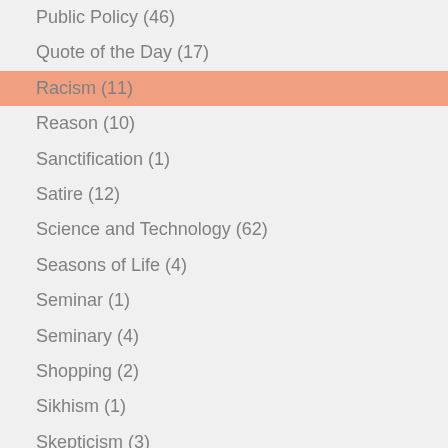Public Policy (46)
Quote of the Day (17)
Racism (11)
Reason (10)
Sanctification (1)
Satire (12)
Science and Technology (62)
Seasons of Life (4)
Seminar (1)
Seminary (4)
Shopping (2)
Sikhism (1)
Skepticism (3)
Slavery (5)
Spam (19)
Sports (7)
Suffering (1)
Tea Party (1)